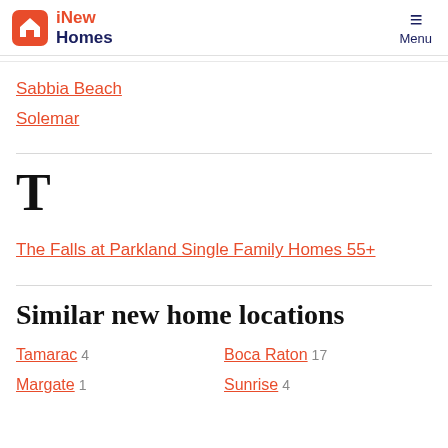iNew Homes | Menu
Sabbia Beach
Solemar
T
The Falls at Parkland Single Family Homes 55+
Similar new home locations
Tamarac 4
Boca Raton 17
Margate 1
Sunrise 4